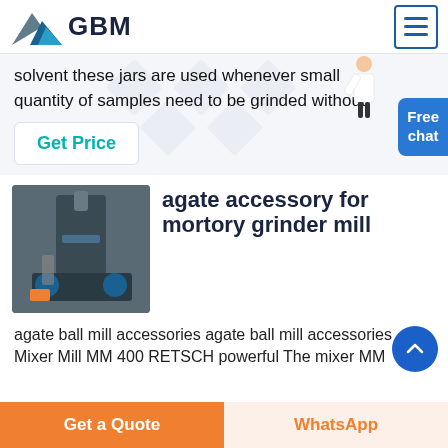GBM
solvent these jars are used whenever small quantity of samples need to be grinded without
Get Price
agate accessory for mortory grinder mill
[Figure (photo): Industrial grinding mill machine in a factory setting]
agate ball mill accessories agate ball mill accessories Mixer Mill MM 400 RETSCH powerful The mixer MM
Get a Quote
WhatsApp